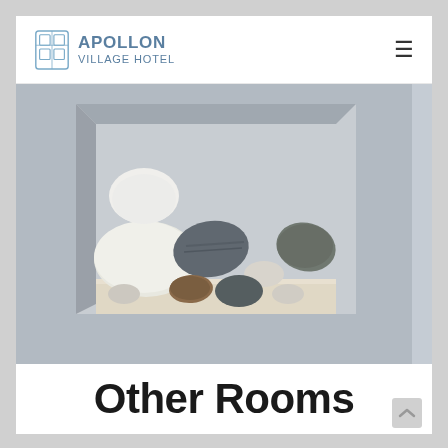APOLLON VILLAGE HOTEL
[Figure (photo): A rectangular wall niche in a grey stucco wall, containing an assortment of smooth stones and pebbles in various colors including white, grey, black, and brown, arranged on a sandy white base inside the niche. Part of a blue door or panel is visible at the far right edge.]
Other Rooms